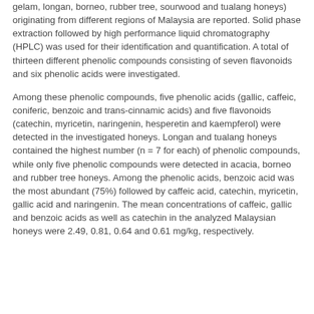gelam, longan, borneo, rubber tree, sourwood and tualang honeys) originating from different regions of Malaysia are reported. Solid phase extraction followed by high performance liquid chromatography (HPLC) was used for their identification and quantification. A total of thirteen different phenolic compounds consisting of seven flavonoids and six phenolic acids were investigated.
Among these phenolic compounds, five phenolic acids (gallic, caffeic, coniferic, benzoic and trans-cinnamic acids) and five flavonoids (catechin, myricetin, naringenin, hesperetin and kaempferol) were detected in the investigated honeys. Longan and tualang honeys contained the highest number (n = 7 for each) of phenolic compounds, while only five phenolic compounds were detected in acacia, borneo and rubber tree honeys. Among the phenolic acids, benzoic acid was the most abundant (75%) followed by caffeic acid, catechin, myricetin, gallic acid and naringenin. The mean concentrations of caffeic, gallic and benzoic acids as well as catechin in the analyzed Malaysian honeys were 2.49, 0.81, 0.64 and 0.61 mg/kg, respectively.